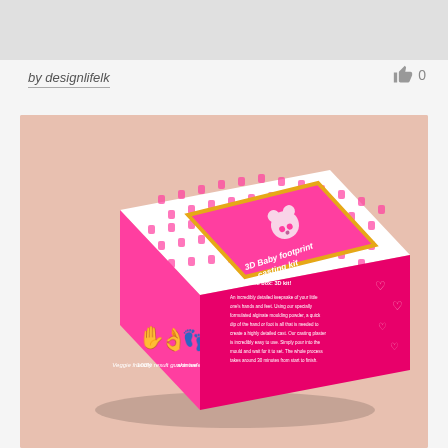by designlifelk
0
[Figure (photo): 3D product packaging mockup of a pink and white polka-dot box labeled '3D Baby Footprint casting kit' with a teddy bear graphic on the front face and icons for 'Veggie friendly', '100% result guarantee', and 'Skin safe' on the side, displayed on a pink/peach background.]